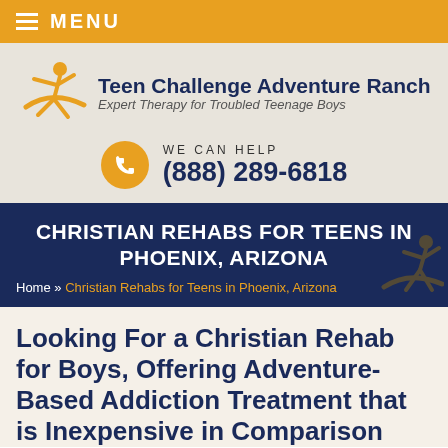MENU
[Figure (logo): Teen Challenge Adventure Ranch logo with orange figure and text 'Expert Therapy for Troubled Teenage Boys']
WE CAN HELP
(888) 289-6818
CHRISTIAN REHABS FOR TEENS IN PHOENIX, ARIZONA
Home » Christian Rehabs for Teens in Phoenix, Arizona
Looking For a Christian Rehab for Boys, Offering Adventure-Based Addiction Treatment that is Inexpensive in Comparison